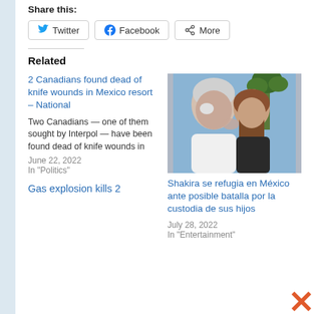Share this:
Twitter
Facebook
More
Related
2 Canadians found dead of knife wounds in Mexico resort – National
Two Canadians — one of them sought by Interpol — have been found dead of knife wounds in
June 22, 2022
In "Politics"
[Figure (photo): An elderly man with white hair and an eye patch kissing a younger woman with long brown hair outdoors with palm trees in background]
Shakira se refugia en México ante posible batalla por la custodia de sus hijos
July 28, 2022
In "Entertainment"
Gas explosion kills 2